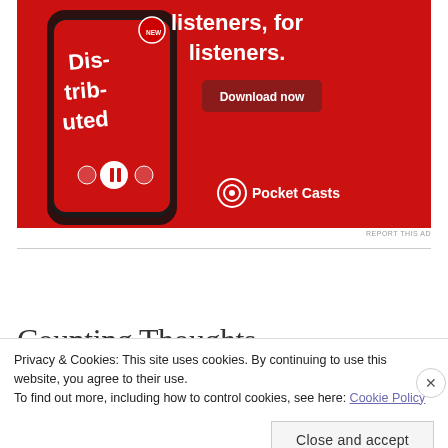[Figure (illustration): Pocket Casts app advertisement on red background showing a smartphone with the Pocket Casts app open displaying 'Distributed' podcast. Text reads 'listeners, for listeners.' with a 'Download now' button and Pocket Casts logo at bottom right.]
REPORT THIS AD
Counting Thoughts
Privacy & Cookies: This site uses cookies. By continuing to use this website, you agree to their use.
To find out more, including how to control cookies, see here: Cookie Policy
Close and accept